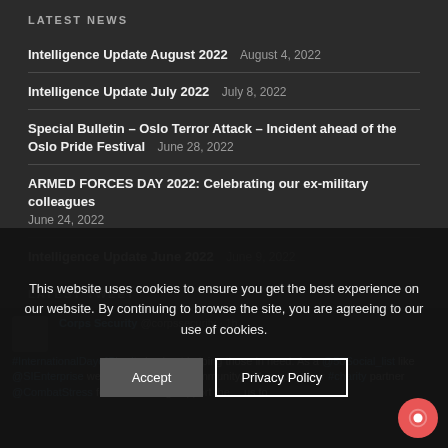LATEST NEWS
Intelligence Update August 2022   August 4, 2022
Intelligence Update July 2022   July 8, 2022
Special Bulletin – Oslo Terror Attack – Incident ahead of the Oslo Pride Festival   June 28, 2022
ARMED FORCES DAY 2022: Celebrating our ex-military colleagues   June 24, 2022
Intelligence Update June 2022   June 9, 2022
LATEST TWEET
Corps Security @corpssecurity · 1h #InternationalDayofCharity is about helping those in need. As a @50Social_list like @SIEnterprise we are proud to be part of our community, with a special mention to our #charity partner @CombatStress for the amazing support they give to those in need.
This website uses cookies to ensure you get the best experience on our website. By continuing to browse the site, you are agreeing to our use of cookies.